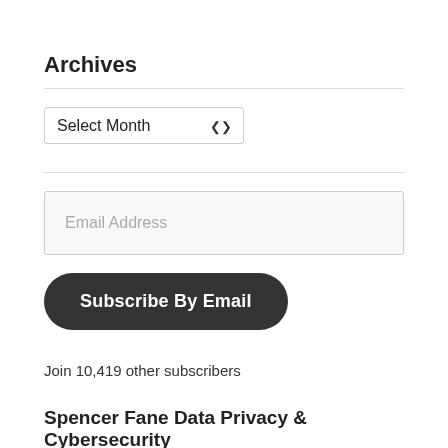Archives
Select Month
Email Address
Subscribe By Email
Join 10,419 other subscribers
Spencer Fane Data Privacy & Cybersecurity